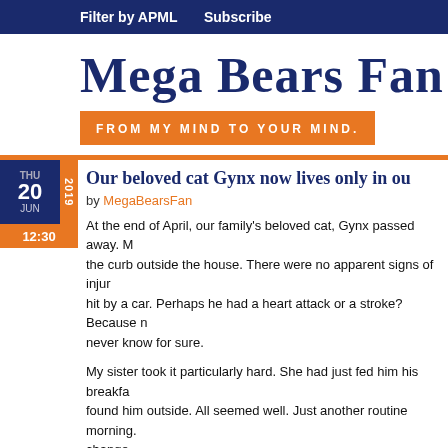Filter by APML   Subscribe
Mega Bears Fan
FROM MY MIND TO YOUR MIND.
Our beloved cat Gynx now lives only in ou...
by MegaBearsFan
At the end of April, our family's beloved cat, Gynx passed away. M... the curb outside the house. There were no apparent signs of injur... hit by a car. Perhaps he had a heart attack or a stroke? Because n... never know for sure.
My sister took it particularly hard. She had just fed him his breakfa... found him outside. All seemed well. Just another routine morning... change...
She was hit hard with grief, and felt responsible. "If only I hadn't le... her fault. She had no way of knowing. He could just as easily have
[Figure (photo): Photo of cat Gynx, partially visible at bottom of page]